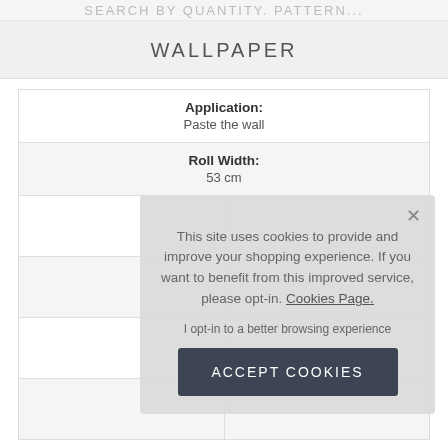WALLPAPER
| Application: | Roll Width: |
| --- | --- |
| Paste the wall | 53 cm |
|  |  |
|  |  |
|  |  |
|  |  |
This site uses cookies to provide and improve your shopping experience. If you want to benefit from this improved service, please opt-in. Cookies Page.

I opt-in to a better browsing experience

ACCEPT COOKIES